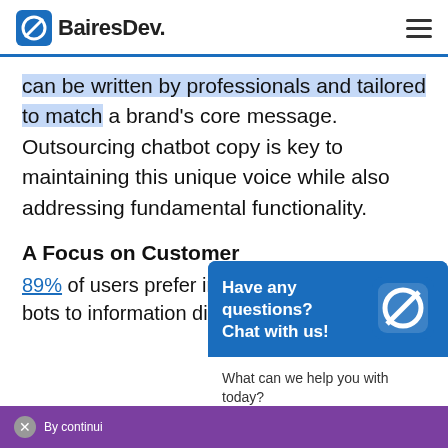BairesDev.
can be written by professionals and tailored to match a brand's core message. Outsourcing chatbot copy is key to maintaining this unique voice while also addressing fundamental functionality.
A Focus on Customer
89% of users prefer info bots to information dis
[Figure (screenshot): BairesDev chat widget with 'Have any questions? Chat with us!' header and 'What can we help you with today?' prompt]
By continui